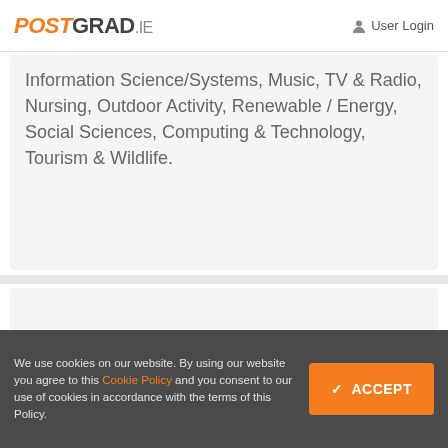POSTGRAD.ie  User Login
Information Science/Systems, Music, TV & Radio, Nursing, Outdoor Activity, Renewable / Energy, Social Sciences, Computing & Technology, Tourism & Wildlife.
[Figure (other): Share icon (three connected circles forming a share symbol) in orange]
We use cookies on our website. By using our website you agree to this Cookie Policy and you consent to our use of cookies in accordance with the terms of this Policy.